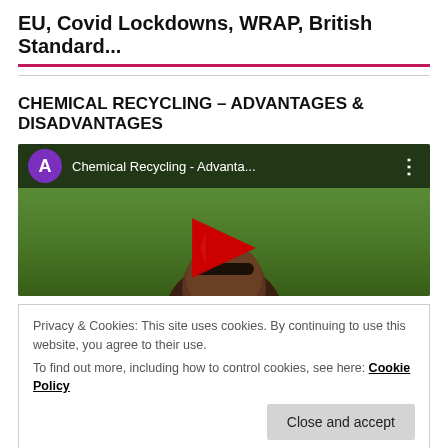EU, Covid Lockdowns, WRAP, British Standard...
CHEMICAL RECYCLING – ADVANTAGES & DISADVANTAGES
[Figure (screenshot): YouTube video thumbnail showing a man with sunglasses outdoors on green lawn. Top bar shows purple avatar circle with 'A', title 'Chemical Recycling - Advanta...' and three-dot menu. YouTube play button visible in center.]
Privacy & Cookies: This site uses cookies. By continuing to use this website, you agree to their use.
To find out more, including how to control cookies, see here: Cookie Policy
Close and accept
PLA – ADVANTAGES & DISADVANTAGES